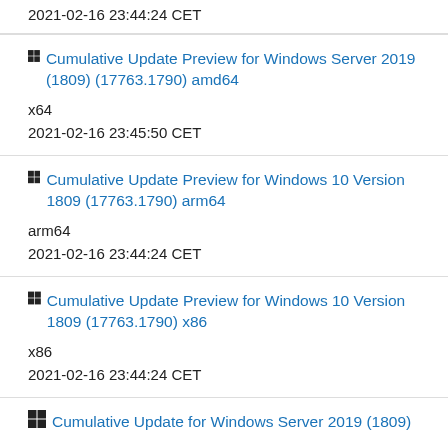2021-02-16 23:44:24 CET
Cumulative Update Preview for Windows Server 2019 (1809) (17763.1790) amd64
x64
2021-02-16 23:45:50 CET
Cumulative Update Preview for Windows 10 Version 1809 (17763.1790) arm64
arm64
2021-02-16 23:44:24 CET
Cumulative Update Preview for Windows 10 Version 1809 (17763.1790) x86
x86
2021-02-16 23:44:24 CET
Cumulative Update for Windows Server 2019 (1809)